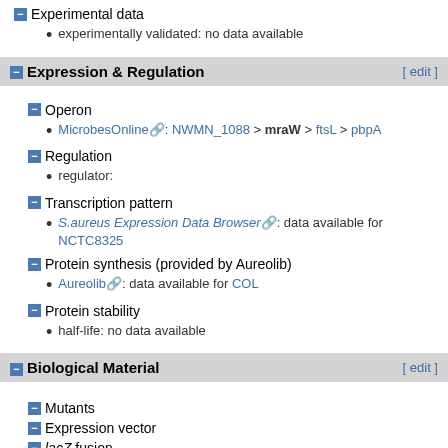Experimental data
experimentally validated: no data available
Expression & Regulation
Operon
MicrobesOnline: NWMN_1088 > mraW > ftsL > pbpA
Regulation
regulator:
Transcription pattern
S.aureus Expression Data Browser: data available for NCTC8325
Protein synthesis (provided by Aureolib)
Aureolib: data available for COL
Protein stability
half-life: no data available
Biological Material
Mutants
Expression vector
lacZ fusion